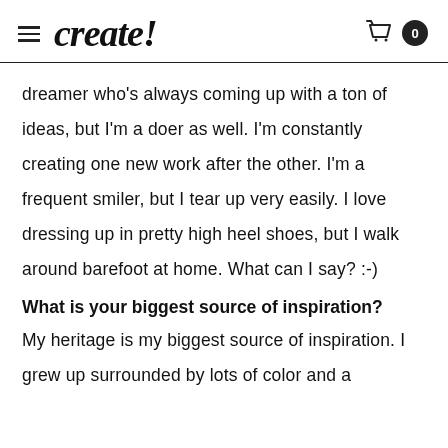create!
dreamer who's always coming up with a ton of ideas, but I'm a doer as well. I'm constantly creating one new work after the other. I'm a frequent smiler, but I tear up very easily. I love dressing up in pretty high heel shoes, but I walk around barefoot at home. What can I say? :-)
What is your biggest source of inspiration?
My heritage is my biggest source of inspiration. I grew up surrounded by lots of color and a